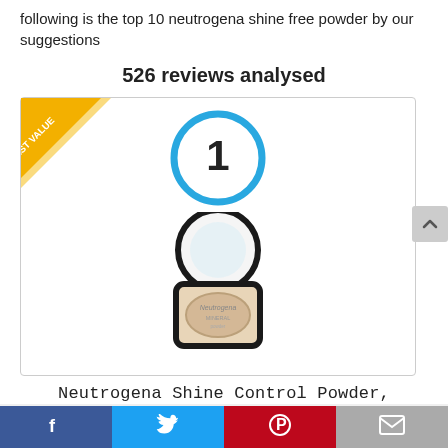following is the top 10 neutrogena shine free powder by our suggestions
526 reviews analysed
[Figure (infographic): Product card with rank 1 badge circle (blue outline with '1' inside), a 'BEST VALUE' gold ribbon in top-left corner, and a product image of Neutrogena Shine Control Powder compact.]
Neutrogena Shine Control Powder, Invisible 10 0.37 Oz
Facebook | Twitter | Pinterest | Email social share bar